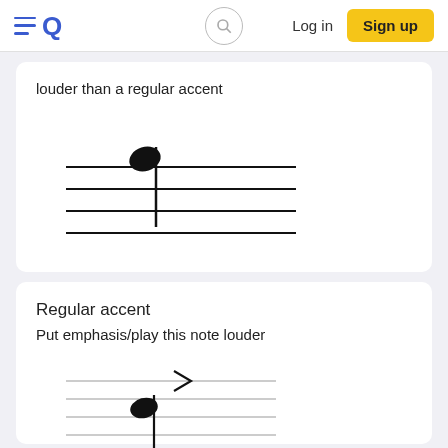EQ | Log in | Sign up
louder than a regular accent
[Figure (illustration): Musical staff with five lines and a note with stem (marcato/sforzando note symbol), depicted in black on white background.]
Regular accent
Put emphasis/play this note louder
[Figure (illustration): Musical staff with five lines showing a quarter note with a stem and an accent mark (>) above it, depicted in gray lines on white background.]